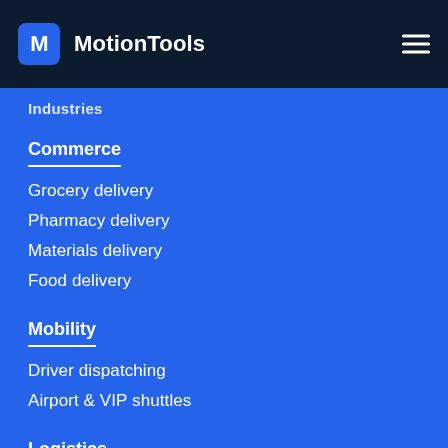MotionTools
Industries
Commerce
Grocery delivery
Pharmacy delivery
Materials delivery
Food delivery
Mobility
Driver dispatching
Airport & VIP shuttles
Logistics